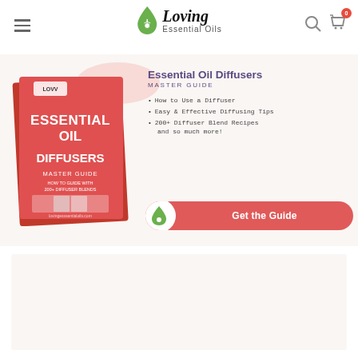Loving Essential Oils — navigation header with hamburger menu and cart icon (0 items)
[Figure (infographic): Essential Oil Diffusers Master Guide book cover promo banner with book image, bullet points, and a 'Get the Guide' call-to-action button]
Essential Oil Diffusers MASTER GUIDE
How to Use a Diffuser
Easy & Effective Diffusing Tips
200+ Diffuser Blend Recipes and so much more!
[Figure (other): Empty cream/off-white content placeholder box at bottom of page]